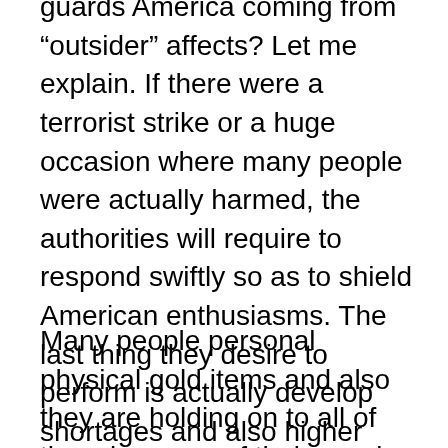guards America coming from “outsider” affects? Let me explain. If there were a terrorist strike or a huge occasion where many people were actually harmed, the authorities will require to respond swiftly so as to shield American enthusiasms. The last thing they desire to perform is actually develop shortages and also higher prices for every person. Augusta Precious Metals is actually the location to be if you want placing your money right into a solid rare-earth elements savings account.
Many people personal physical gold items and also they are holding on to all of them because of their passion for gold. These valuable metals have constantly been